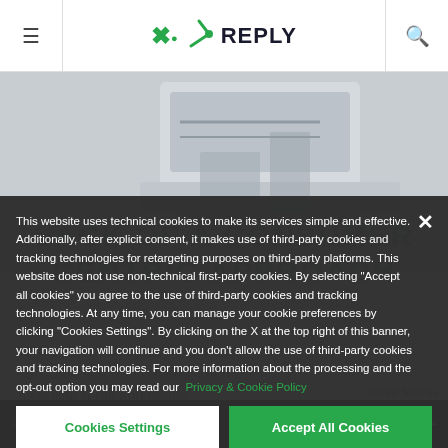REPLY
[Figure (photo): Industrial machinery photo visible in background behind the cookie consent banner]
LACK OF A CONSUMER CENTRIC APPROACH
While other industries have setup consume first approaches, such as online retail and online services, for a long time, Telcos
This website uses technical cookies to make its services simple and effective. Additionally, after explicit consent, it makes use of third-party cookies and tracking technologies for retargeting purposes on third-party platforms. This website does not use non-technical first-party cookies. By selecting "Accept all cookies" you agree to the use of third-party cookies and tracking technologies. At any time, you can manage your cookie preferences by clicking "Cookies Settings". By clicking on the X at the top right of this banner, your navigation will continue and you don't allow the use of third-party cookies and tracking technologies. For more information about the processing and the opt-out option you may read our Privacy & Cookie Policy
Reply © 202...